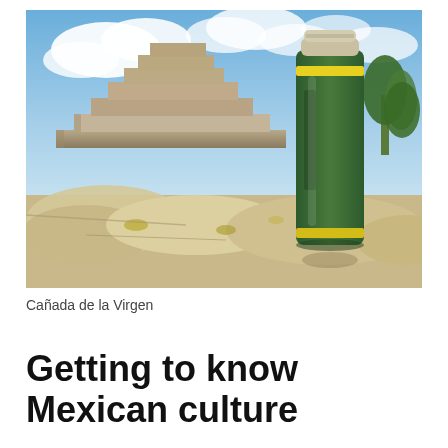[Figure (photo): A green water bottle/thermos with yellow accent bands standing on ancient stone ruins, with a stepped pyramid (Cañada de la Virgen) visible in the background under a blue sky with clouds and trees on the right.]
Cañada de la Virgen
Getting to know Mexican culture